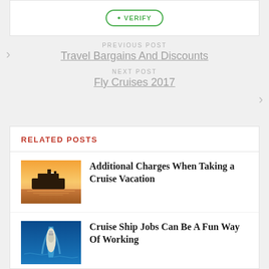[Figure (screenshot): Verify button with green border and bullet point]
PREVIOUS POST
Travel Bargains And Discounts
NEXT POST
Fly Cruises 2017
RELATED POSTS
[Figure (photo): Cruise ship at sunset on beach]
Additional Charges When Taking a Cruise Vacation
[Figure (photo): Aerial view of cruise ship on blue ocean]
Cruise Ship Jobs Can Be A Fun Way Of Working